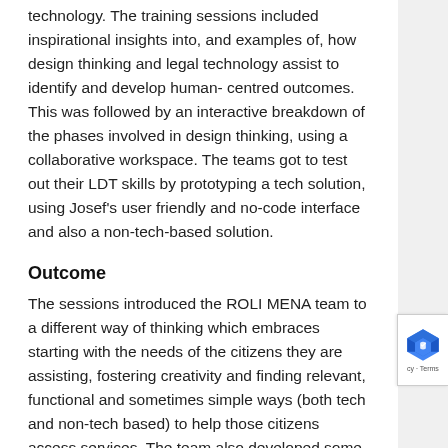technology. The training sessions included inspirational insights into, and examples of, how design thinking and legal technology assist to identify and develop human- centred outcomes. This was followed by an interactive breakdown of the phases involved in design thinking, using a collaborative workspace. The teams got to test out their LDT skills by prototyping a tech solution, using Josef's user friendly and no-code interface and also a non-tech-based solution.
Outcome
The sessions introduced the ROLI MENA team to a different way of thinking which embraces starting with the needs of the citizens they are assisting, fostering creativity and finding relevant, functional and sometimes simple ways (both tech and non-tech based) to help those citizens access services. The team also developed some initial prototypes including, but first starting with, a simple list...